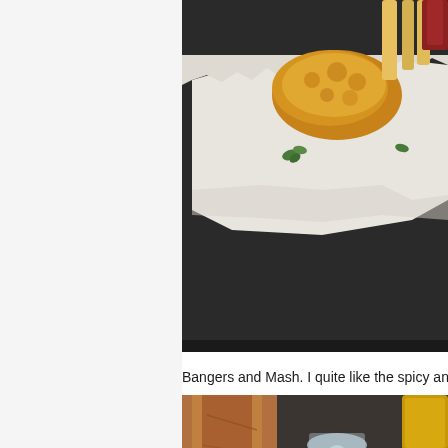[Figure (photo): Close-up photo of fried battered food (likely fish) on a white paper liner on a dark tray, with green herbs visible]
Bangers and Mash. I quite like the spicy and pork one.
[Figure (photo): Photo of bangers and mash dish on a white plate with sausages and red sauce, brown paper bag, glass of water on a dark metal tray]